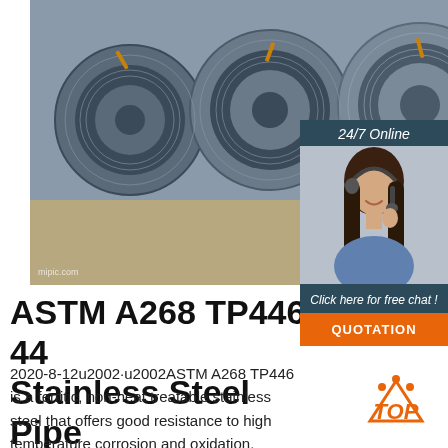[Figure (photo): Steel wire coils/rods stacked on ground, industrial setting]
[Figure (photo): 24/7 Online support box with woman wearing headset and chat/quotation button]
ASTM A268 TP446, 44 Stainless Steel Pipe Manufacturers
2020-8-12u2002·u2002ASTM A268 TP446 is a ferritic, non-heat treatable stainless steel that offers good resistance to high temperature corrosion and oxidation. ASTM A268 TP 446-1 Tubing can be easily welded using most of the traditional methods except oxyacetylene welding
[Figure (logo): TOP logo with orange triangle/dots and orange italic TOP text]